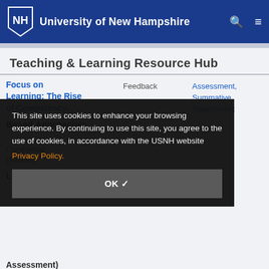University of New Hampshire
Teaching & Learning Resource Hub
Focus on Learning: The Rise of Competency-Based Approaches
Feedback
Assessment, Summative Assessment
This site uses cookies to enhance your browsing experience. By continuing to use this site, you agree to the use of cookies, in accordance with the USNH website Privacy Policy.
OK ✓
Assessment)
Unifying concepts